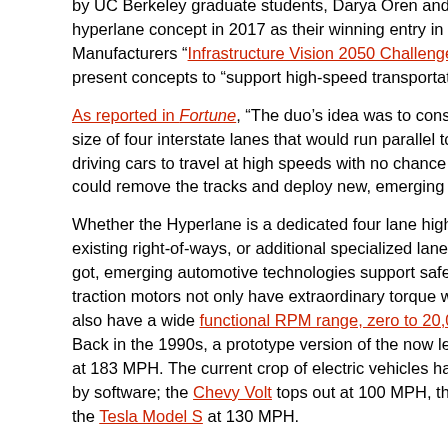by UC Berkeley graduate students, Darya Oren and Anthony Burns, hyperlane concept in 2017 as their winning entry in the Association of Equipment Manufacturers "Infrastructure Vision 2050 Challenge." AEM's 2017 challenge asked participants to present concepts to "support high-speed transportation by the year 2050."
As reported in Fortune, "The duo's idea was to construct a 'Hyperlane,' a network the size of four interstate lanes that would run parallel to pre-existing highways, enabling self-driving cars to travel at high speeds with no chance of getting into accidents. Importantly, you could remove the tracks and deploy new, emerging technologies like MagLev."
Whether the Hyperlane is a dedicated four lane highway, elevated over or alongside existing right-of-ways, or additional specialized lanes similar to the HOT lanes we already got, emerging automotive technologies support safer, denser traffic flow. Electric traction motors not only have extraordinary torque which delivers immediate acceleration, they also have a wide functional RPM range, zero to 20,000, far greater than internal combustion. Back in the 1990s, a prototype version of the now legendary General Motors EV1 topped out at 183 MPH. The current crop of electric vehicles have top speeds that are artificially capped by software; the Chevy Volt tops out at 100 MPH, the Tesla Roadster at 125 MPH and the Tesla Model S at 130 MPH.
Using dedicated lanes for high speed vehicular travel has been tried before. Consider the German autobahns easily qualify. If you're driving 120 MPH in the left lane of a German autobahn, you'd better watch your rear view mirror, because if a car comes up behind you into your rear end, it's your fault. German drivers obey strict rules, the most important: slower drivers must always yield to faster drivers by moving promptly to the right.